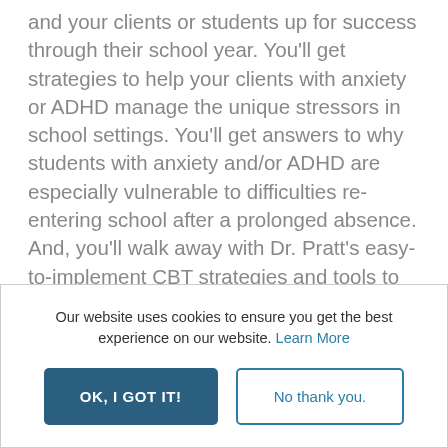and your clients or students up for success through their school year. You'll get strategies to help your clients with anxiety or ADHD manage the unique stressors in school settings. You'll get answers to why students with anxiety and/or ADHD are especially vulnerable to difficulties re-entering school after a prolonged absence. And, you'll walk away with Dr. Pratt's easy-to-implement CBT strategies and tools to help your students meet academic and social demands of school and so much more.
ADHD-Certified Clinical Services
Our website uses cookies to ensure you get the best experience on our website. Learn More